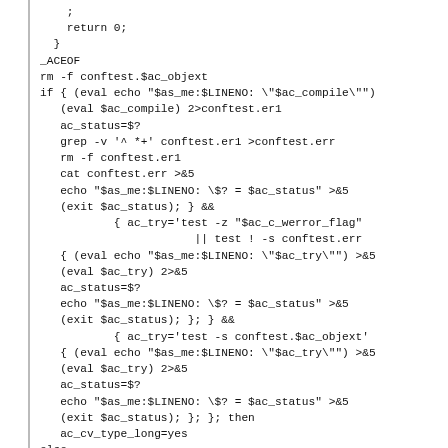;
    return 0;
  }
_ACEOF
rm -f conftest.$ac_objext
if { (eval echo "$as_me:$LINENO: \"$ac_compile\"")
   (eval $ac_compile) 2>conftest.er1
   ac_status=$?
   grep -v '^ *+' conftest.er1 >conftest.err
   rm -f conftest.er1
   cat conftest.err >&5
   echo "$as_me:$LINENO: \$? = $ac_status" >&5
   (exit $ac_status); } &&
           { ac_try='test -z "$ac_c_werror_flag"
                       || test ! -s conftest.err
   { (eval echo "$as_me:$LINENO: \"$ac_try\"") >&5
   (eval $ac_try) 2>&5
   ac_status=$?
   echo "$as_me:$LINENO: \$? = $ac_status" >&5
   (exit $ac_status); }; } &&
           { ac_try='test -s conftest.$ac_objext'
   { (eval echo "$as_me:$LINENO: \"$ac_try\"") >&5
   (eval $ac_try) 2>&5
   ac_status=$?
   echo "$as_me:$LINENO: \$? = $ac_status" >&5
   (exit $ac_status); }; }; then
   ac_cv_type_long=yes
else
   echo "$as_me: failed program was:" >&5
sed 's/^/| /' conftest.$ac_ext >&5

ac_cv_type_long=no
fi